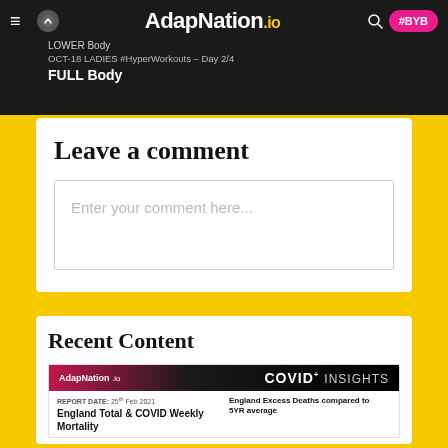LOWER Body | OCT-18 LADIES #HyperWorkouts – Day 2/4 FULL Body
[Figure (logo): AdapNation.io navigation bar with hamburger menu, up arrow, logo, search icon, and #BYB pink button]
Leave a comment
Enter your comment here...
Recent Content
[Figure (screenshot): AdapNation COVID INSIGHTS card showing Report Date: 25th Feb 2021, England Total & COVID Weekly Mortality, England Excess Deaths compared to 5YR average]